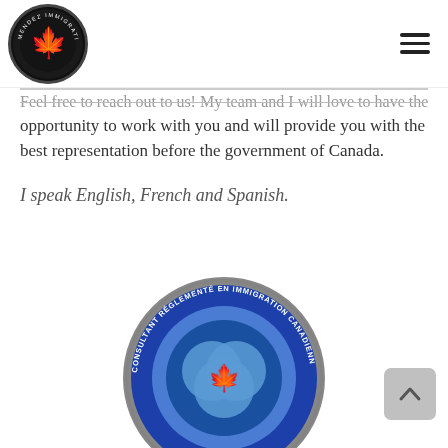Mendez Immigration logo and navigation menu
Feel free to reach out to us! My team and I will love to have the opportunity to work with you and will provide you with the best representation before the government of Canada.
I speak English, French and Spanish.
[Figure (logo): RCIC badge: Consultant Réglementé en Immigration Canadienne / Regulated Canadian Immigration Consultant circular badge with maple leaf]